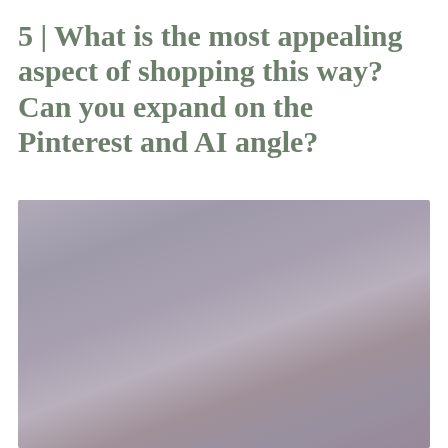5 | What is the most appealing aspect of shopping this way? Can you expand on the Pinterest and AI angle?
[Figure (photo): A blurred/abstract photograph with muted gray-purple and mauve tones, partially visible at the bottom of the page.]